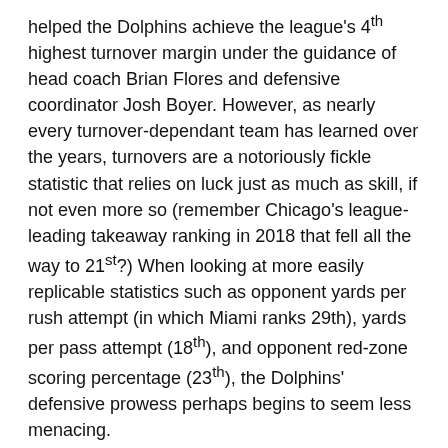helped the Dolphins achieve the league's 4th highest turnover margin under the guidance of head coach Brian Flores and defensive coordinator Josh Boyer. However, as nearly every turnover-dependant team has learned over the years, turnovers are a notoriously fickle statistic that relies on luck just as much as skill, if not even more so (remember Chicago's league-leading takeaway ranking in 2018 that fell all the way to 21st?) When looking at more easily replicable statistics such as opponent yards per rush attempt (in which Miami ranks 29th), yards per pass attempt (18th), and opponent red-zone scoring percentage (23th), the Dolphins' defensive prowess perhaps begins to seem less menacing.
And although Tua no doubt did his part in last week's win, Miami's offense still leaves things to be desired, putting up the league's single worst yards per rush attempt while ranking 17th in yards per pass attempt (with much of the